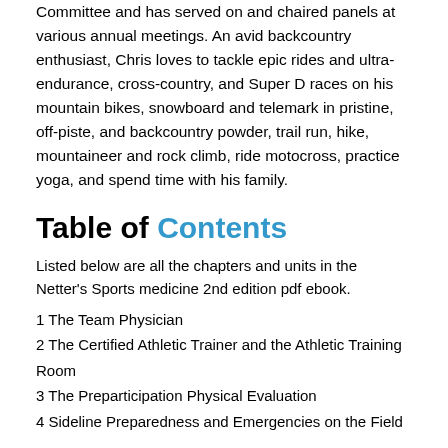Committee and has served on and chaired panels at various annual meetings. An avid backcountry enthusiast, Chris loves to tackle epic rides and ultra-endurance, cross-country, and Super D races on his mountain bikes, snowboard and telemark in pristine, off-piste, and backcountry powder, trail run, hike, mountaineer and rock climb, ride motocross, practice yoga, and spend time with his family.
Table of Contents
Listed below are all the chapters and units in the Netter's Sports medicine 2nd edition pdf ebook.
1 The Team Physician
2 The Certified Athletic Trainer and the Athletic Training Room
3 The Preparticipation Physical Evaluation
4 Sideline Preparedness and Emergencies on the Field